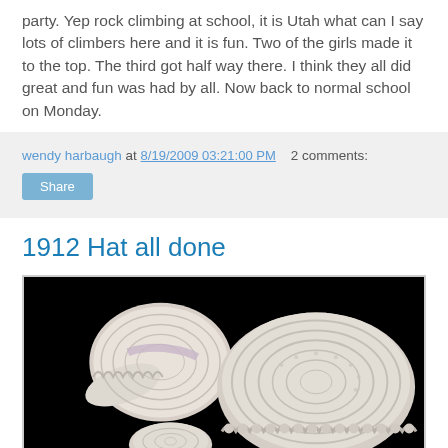party. Yep rock climbing at school, it is Utah what can I say lots of climbers here and it is fun. Two of the girls made it to the top. The third got half way there. I think they all did great and fun was had by all. Now back to normal school on Monday.
wendy harbaugh at 8/19/2009 03:21:00 PM   2 comments:
Share
1912 Hat all done
[Figure (photo): Photo of white crocheted hats against a black background. Multiple hats visible showing detailed crochet work with scalloped edges.]